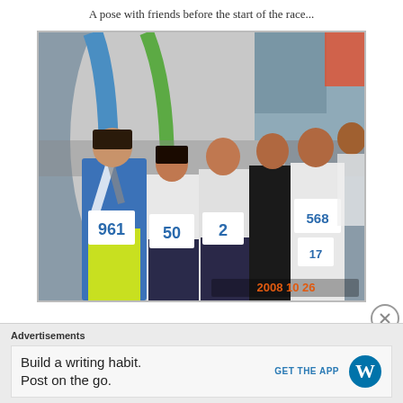A pose with friends before the start of the race...
[Figure (photo): Group of young runners in race bibs (numbers 961, 50, 2, 568, 17) posing before a race start, with a colorful inflatable arch in the background. Timestamp reads 2008 10 26.]
Advertisements
Build a writing habit. Post on the go.
GET THE APP